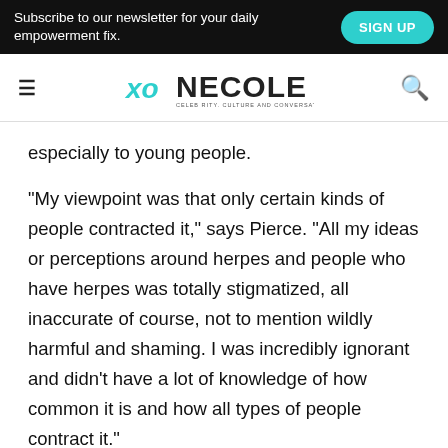Subscribe to our newsletter for your daily empowerment fix. SIGN UP
xo NECOLE
especially to young people.
"My viewpoint was that only certain kinds of people contracted it," says Pierce. "All my ideas or perceptions around herpes and people who have herpes was totally stigmatized, all inaccurate of course, not to mention wildly harmful and shaming. I was incredibly ignorant and didn't have a lot of knowledge of how common it is and how all types of people contract it."
Truth is, hundreds of millions of women around the